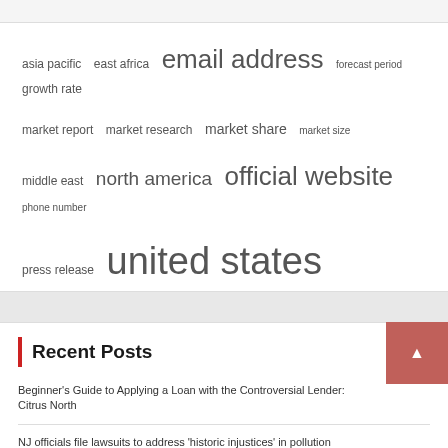[Figure (infographic): Tag cloud containing keyword tags of varying font sizes: asia pacific, east africa, email address, forecast period, growth rate, market report, market research, market share, market size, middle east, north america, official website, phone number, press release, united states]
Recent Posts
Beginner's Guide to Applying a Loan with the Controversial Lender: Citrus North
NJ officials file lawsuits to address 'historic injustices' in pollution